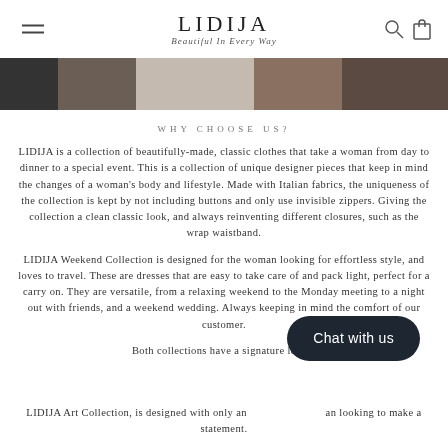LIDIJA — Beautiful In Every Way
[Figure (photo): Partial view of a fashion photo showing clothing/model in warm tones]
WHY CHOOSE US?
LIDIJA is a collection of beautifully-made, classic clothes that take a woman from day to dinner to a special event. This is a collection of unique designer pieces that keep in mind the changes of a woman's body and lifestyle. Made with Italian fabrics, the uniqueness of the collection is kept by not including buttons and only use invisible zippers. Giving the collection a clean classic look, and always reinventing different closures, such as the wrap waistband.
LIDIJA Weekend Collection is designed for the woman looking for effortless style, and loves to travel. These are dresses that are easy to take care of and pack light, perfect for a carry on. They are versatile, from a relaxing weekend to the Monday meeting to a night out with friends, and a weekend wedding. Always keeping in mind the comfort of our customer.
Both collections have a signature length
LIDIJA Art Collection, is designed with only an looking to make a statement.